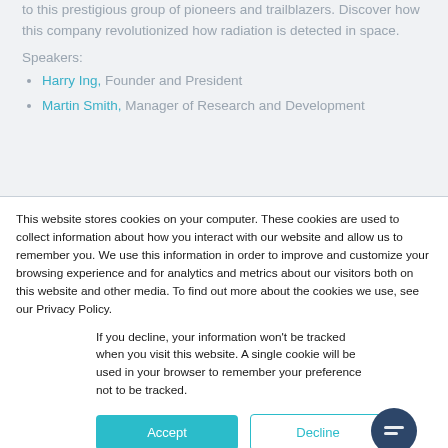to this prestigious group of pioneers and trailblazers. Discover how this company revolutionized how radiation is detected in space.
Speakers:
Harry Ing, Founder and President
Martin Smith, Manager of Research and Development
This website stores cookies on your computer. These cookies are used to collect information about how you interact with our website and allow us to remember you. We use this information in order to improve and customize your browsing experience and for analytics and metrics about our visitors both on this website and other media. To find out more about the cookies we use, see our Privacy Policy.
If you decline, your information won't be tracked when you visit this website. A single cookie will be used in your browser to remember your preference not to be tracked.